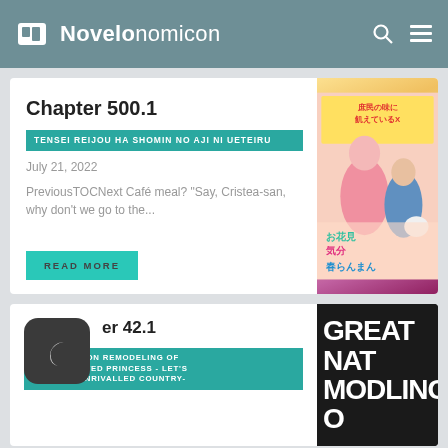Novelonomicon
Chapter 500.1
TENSEI REIJOU HA SHOMIN NO AJI NI UETEIRU
July 21, 2022
PreviousTOCNext Café meal? "Say, Cristea-san, why don't we go to the...
READ MORE
[Figure (illustration): Manga cover art for Tensei Reijou Ha Shomin No Aji Ni Ueteiru featuring anime characters]
Chapter 42.1
GREAT NATION REMODELING OF REINCARNATED PRINCESS - LET'S BUILD AN UNRIVALLED COUNTRY-
[Figure (illustration): Dark placeholder icon with crescent moon and black background with white text GREAT NATION REMODELING OF]